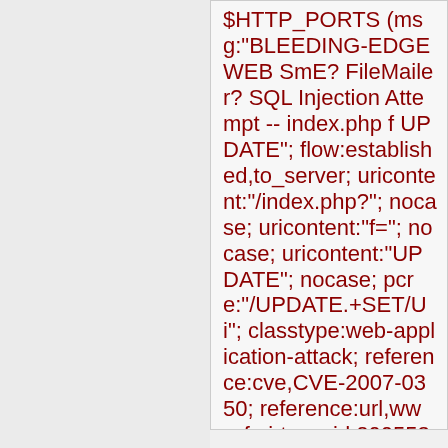$HTTP_PORTS (msg:"BLEEDING-EDGE WEB SmE? FileMailer? SQL Injection Attempt -- index.php f UPDATE"; flow:established,to_server; uricontent:"/index.php?"; nocase; uricontent:"f="; nocase; uricontent:"UPDATE"; nocase; pcre:"/UPDATE.+SET/Ui"; classtype:web-application-attack; reference:cve,CVE-2007-0350; reference:url,www.frsirt.co sid:2005535; rev:2;)